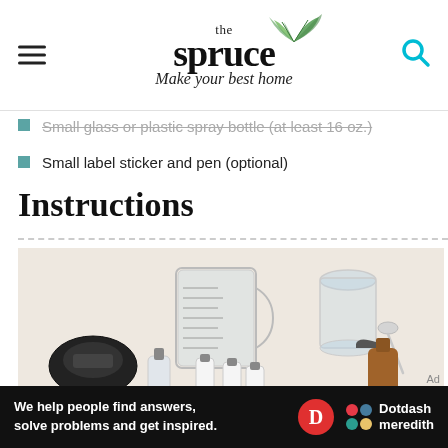the spruce — Make your best home
Small glass or plastic spray bottle (at least 16 oz.)
Small label sticker and pen (optional)
Instructions
[Figure (photo): Flat lay of cleaning supplies on white fabric: measuring cup, glass of water, spoon, small essential oil bottles, a black handheld device, and an amber spray bottle]
We help people find answers, solve problems and get inspired. Dotdash meredith